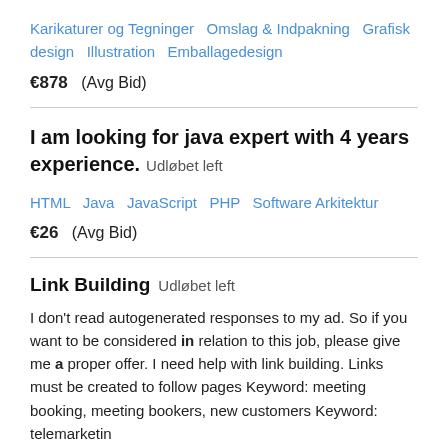Karikaturer og Tegninger  Omslag & Indpakning  Grafisk design  Illustration  Emballagedesign
€878  (Avg Bid)
I am looking for java expert with 4 years experience.  Udløbet left
HTML  Java  JavaScript  PHP  Software Arkitektur
€26  (Avg Bid)
Link Building  Udløbet left
I don't read autogenerated responses to my ad. So if you want to be considered in relation to this job, please give me a proper offer. I need help with link building. Links must be created to follow pages Keyword: meeting booking, meeting bookers, new customers Keyword: telemarketing